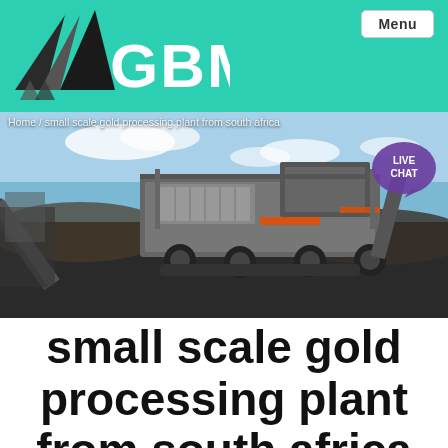GBM — Menu
[Figure (photo): A large industrial mobile screening/crushing plant photographed outdoors on a mine site with blue sky background and piles of dark ore/coal material.]
Home / small scale gold processing plant from south africa
small scale gold processing plant from south africa